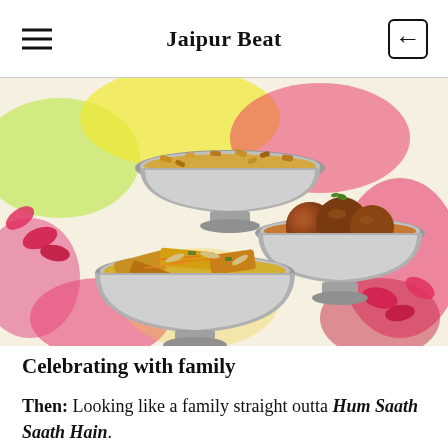Jaipur Beat
[Figure (photo): Three silver pedestal bowls containing Indian sweets — gulab jamun, shahi tukda/halwa, and a dry fruit mithai — arranged on a colorful Holi-themed background with pink flowers and splashes of color.]
Celebrating with family
Then: Looking like a family straight outta Hum Saath Saath Hain.